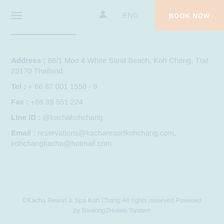≡  🧑  ENG  BOOK NOW
Address : 88/1 Moo 4 White Sand Beach, Koh Chang, Trat 23170 Thailand
Tel : + 66 87 001 1558 - 9
Fax : +66 39 551 224
Line ID : @kachakohchang
Email : reservations@kacharesortkohchang.com, kohchangkacha@hotmail.com
©Kacha Resort & Spa Koh Chang All rights reserved Powered by Booking2Hotels System